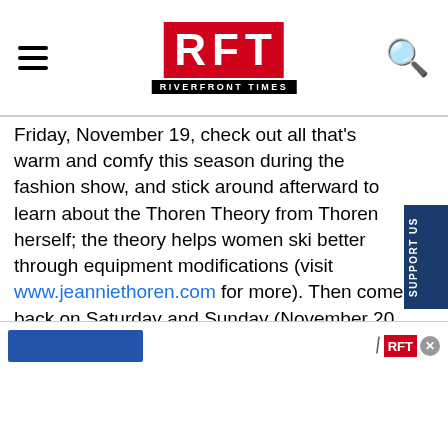RFT RIVERFRONT TIMES
Friday, November 19, check out all that’s warm and comfy this season during the fashion show, and stick around afterward to learn about the Thoren Theory from Thoren herself; the theory helps women ski better through equipment modifications (visit www.jeanniethoren.com for more). Then come back on Saturday and Sunday (November 20 and 21) to actually get your equipment customized. New clothes, fine-tuned equipment -- look out, Hidden Valley! -- Alison Sieloff
[Figure (screenshot): Bottom advertisement strip with blue bar, nail image, small RFT logo and close button]